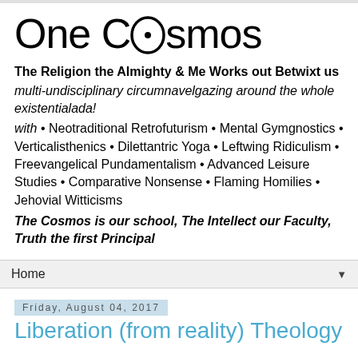One COsmos
The Religion the Almighty & Me Works out Betwixt us
multi-undisciplinary circumnavelgazing around the whole existentialada!
with • Neotraditional Retrofuturism • Mental Gymgnostics • Verticalisthenics • Dilettantric Yoga • Leftwing Ridiculism • Freevangelical Pundamentalism • Advanced Leisure Studies • Comparative Nonsense • Flaming Homilies • Jehovial Witticisms
The Cosmos is our school, The Intellect our Faculty, Truth the first Principal
Home
Friday, August 04, 2017
Liberation (from reality) Theology